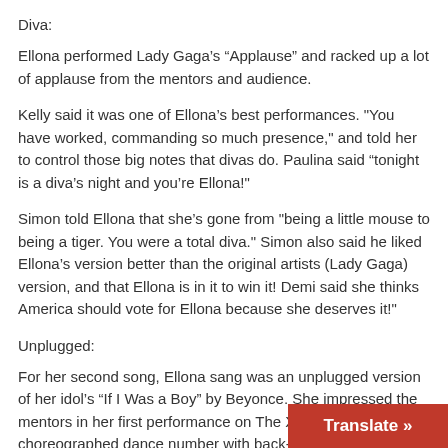Diva:
Ellona performed Lady Gaga’s “Applause” and racked up a lot of applause from the mentors and audience.
Kelly said it was one of Ellona’s best performances. "You have worked, commanding so much presence," and told her to control those big notes that divas do. Paulina said “tonight is a diva’s night and you’re Ellona!"
Simon told Ellona that she’s gone from "being a little mouse to being a tiger. You were a total diva." Simon also said he liked Ellona’s version better than the original artists (Lady Gaga) version, and that Ellona is in it to win it! Demi said she thinks America should vote for Ellona because she deserves it!"
Unplugged:
For her second song, Ellona sang was an unplugged version of her idol’s “If I Was a Boy” by Beyonce. She impressed the mentors in her first performance on The X Factor without a choreographed dance number with back-up dancers. Kelly said, “You have such a big, beautiful voice. The part that I loved the most is when you softened-up the notes.” Paulina said, “I feel I’m star. I love how you command and love your pas
Translate »